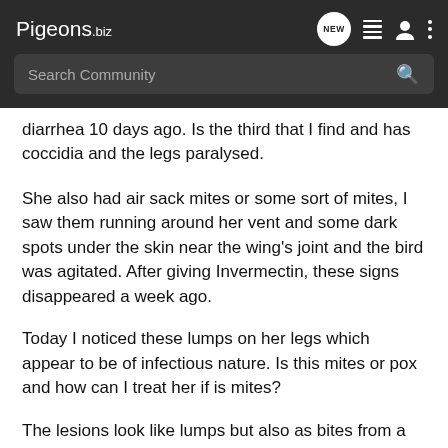Pigeons.biz — Search Community
diarrhea 10 days ago. Is the third that I find and has coccidia and the legs paralysed.
She also had air sack mites or some sort of mites, I saw them running around her vent and some dark spots under the skin near the wing's joint and the bird was agitated. After giving Invermectin, these signs disappeared a week ago.
Today I noticed these lumps on her legs which appear to be of infectious nature. Is this mites or pox and how can I treat her if is mites?
The lesions look like lumps but also as bites from a small insect, the skin is broken and are blood crusts in some areas